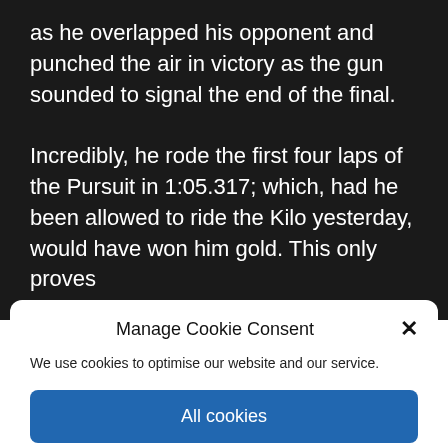as he overlapped his opponent and punched the air in victory as the gun sounded to signal the end of the final.

Incredibly, he rode the first four laps of the Pursuit in 1:05.317; which, had he been allowed to ride the Kilo yesterday, would have won him gold. This only proves
Manage Cookie Consent
We use cookies to optimise our website and our service.
All cookies
Deny
View preferences
Cookie policy   Cookie policy